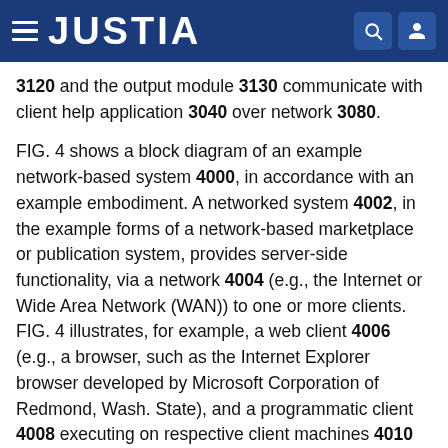JUSTIA
3120 and the output module 3130 communicate with client help application 3040 over network 3080.
FIG. 4 shows a block diagram of an example network-based system 4000, in accordance with an example embodiment. A networked system 4002, in the example forms of a network-based marketplace or publication system, provides server-side functionality, via a network 4004 (e.g., the Internet or Wide Area Network (WAN)) to one or more clients. FIG. 4 illustrates, for example, a web client 4006 (e.g., a browser, such as the Internet Explorer browser developed by Microsoft Corporation of Redmond, Wash. State), and a programmatic client 4008 executing on respective client machines 4010 and 4012.
An Application Program Interface (API) server 4014 and a web server 4016 are coupled to, and provide communicative data interfaces for, respective client-to-